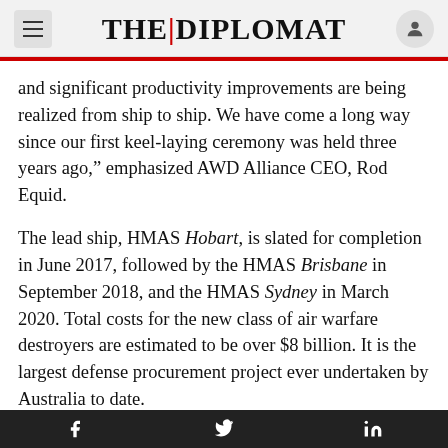THE | DIPLOMAT
and significant productivity improvements are being realized from ship to ship. We have come a long way since our first keel-laying ceremony was held three years ago,” emphasized AWD Alliance CEO, Rod Equid.
The lead ship, HMAS Hobart, is slated for completion in June 2017, followed by the HMAS Brisbane in September 2018, and the HMAS Sydney in March 2020. Total costs for the new class of air warfare destroyers are estimated to be over $8 billion. It is the largest defense procurement project ever undertaken by Australia to date.
While the Hobart-class ships, based on the Navantia-designed Álvaro de Bazán-class frigate (aka F-100)